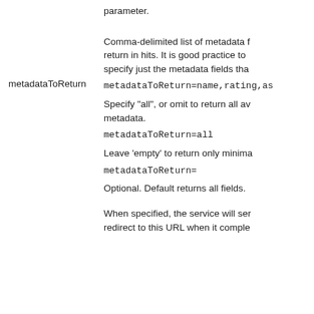parameter.
Comma-delimited list of metadata fields to return in hits. It is good practice to specify just the metadata fields that...
metadataToReturn=name,rating,as...
Specify "all", or omit to return all available metadata.
metadataToReturn=all
Leave 'empty' to return only minimal...
metadataToReturn=
Optional. Default returns all fields.
metadataToReturn
When specified, the service will send redirect to this URL when it completes...